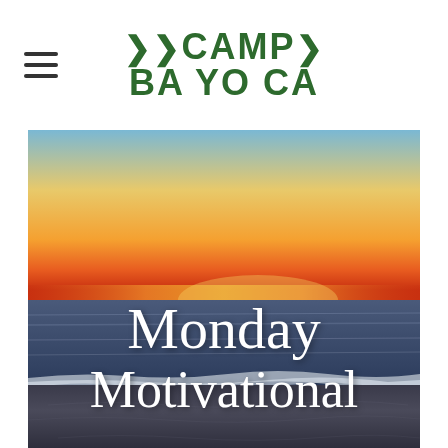>>CAMP>> BA YO CA
[Figure (photo): Beach sunset photo with orange and red sky over ocean water and dark sandy beach in foreground, with text overlay reading 'Monday Motivational']
Monday Motivational